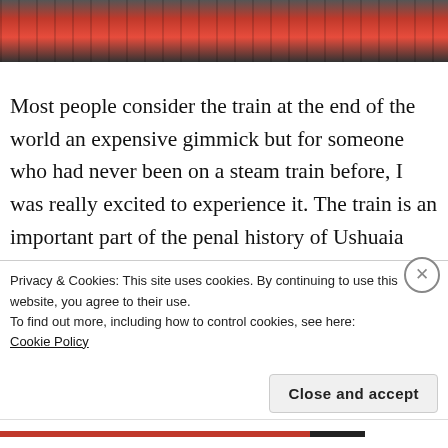[Figure (photo): Top portion of a photo showing a red steam train engine with mechanical parts visible, cropped at the top of the page]
Most people consider the train at the end of the world an expensive gimmick but for someone who had never been on a steam train before, I was really excited to experience it. The train is an important part of the penal history of Ushuaia (more on that later) and takes you through parts of the Tierra del Fuego National Park
Privacy & Cookies: This site uses cookies. By continuing to use this website, you agree to their use.
To find out more, including how to control cookies, see here: Cookie Policy
Close and accept